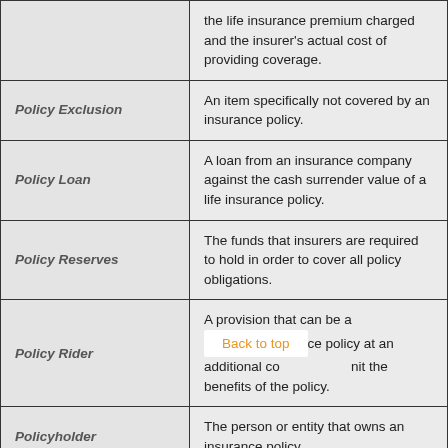| Term | Definition |
| --- | --- |
|  | the life insurance premium charged and the insurer's actual cost of providing coverage. |
| Policy Exclusion | An item specifically not covered by an insurance policy. |
| Policy Loan | A loan from an insurance company against the cash surrender value of a life insurance policy. |
| Policy Reserves | The funds that insurers are required to hold in order to cover all policy obligations. |
| Policy Rider | A provision that can be added to an insurance policy at an additional cost to expand or limit the benefits of the policy. |
| Policyholder | The person or entity that owns an insurance policy. |
|  |  |